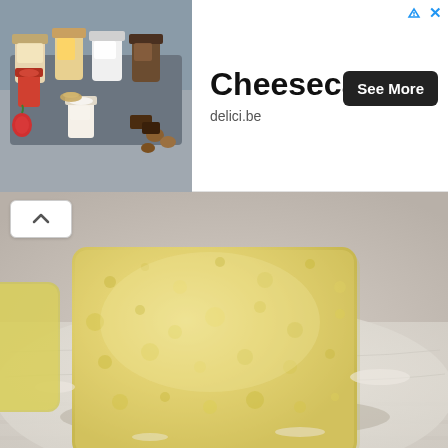[Figure (screenshot): Screenshot of a webpage showing an advertisement banner for Cheesecakes from delici.be with a 'See More' button, and below it a food photo of a square flat dough/pastry piece on parchment paper, with a scroll-up button.]